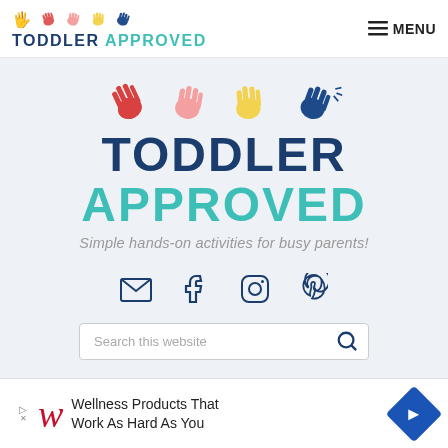TODDLER APPROVED — MENU
[Figure (logo): Toddler Approved logo with colorful handprints and text 'TODDLER APPROVED — Simple hands-on activities for busy parents!']
[Figure (other): Social media icons: email, Facebook, Instagram, Pinterest]
[Figure (other): Search bar with placeholder 'Search this website']
SHOP
ABOUT
[Figure (other): Advertisement: Wellness Products That Work As Hard As You — Walgreens logo]